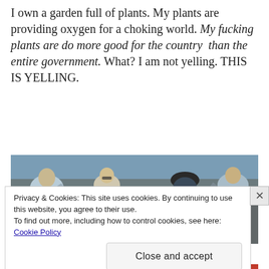I own a garden full of plants. My plants are providing oxygen for a choking world. My fucking plants are do more good for the country than the entire government. What? I am not yelling. THIS IS YELLING.
[Figure (photo): A crowd of people at an outdoor event, several smiling and appearing to cheer, with a bald head visible in the foreground.]
Privacy & Cookies: This site uses cookies. By continuing to use this website, you agree to their use.
To find out more, including how to control cookies, see here: Cookie Policy
Close and accept